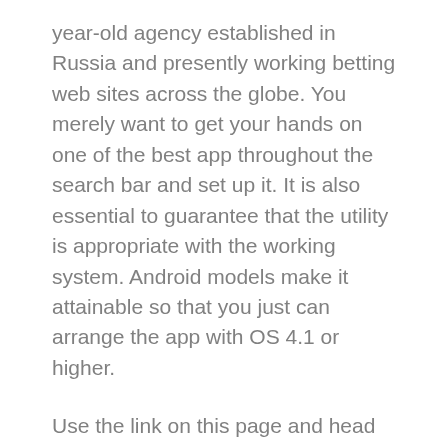year-old agency established in Russia and presently working betting web sites across the globe. You merely want to get your hands on one of the best app throughout the search bar and set up it. It is also essential to guarantee that the utility is appropriate with the working system. Android models make it attainable so that you just can arrange the app with OS 4.1 or higher.
Use the link on this page and head over to the 1XBET web site to sign-up with their casino and get the welcome provide. These markets have developed based on the altering needs of online betting clients, and a such the method in which by which we bet on soccer has seen a massive change lately. If you are already a fan of on-line betting, you'll undoubtedly know of the recognition of Accumulator bets. This type of betting contains a quantity of totally different selections on unrelated